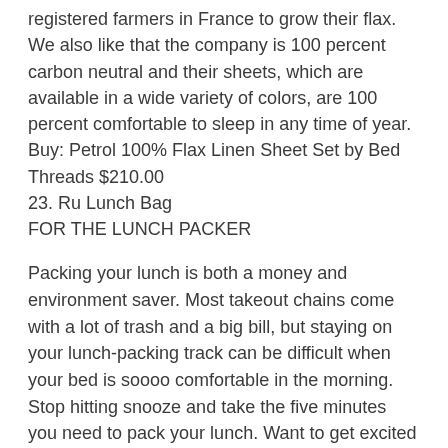registered farmers in France to grow their flax. We also like that the company is 100 percent carbon neutral and their sheets, which are available in a wide variety of colors, are 100 percent comfortable to sleep in any time of year.
Buy: Petrol 100% Flax Linen Sheet Set by Bed Threads $210.00
23. Ru Lunch Bag
FOR THE LUNCH PACKER
Packing your lunch is both a money and environment saver. Most takeout chains come with a lot of trash and a big bill, but staying on your lunch-packing track can be difficult when your bed is soooo comfortable in the morning. Stop hitting snooze and take the five minutes you need to pack your lunch. Want to get excited about your salad? Pack it in one of the fashionable lunch bags from Ru, which makes their products from 97% recycled polyester. Using fabric that is certified Repreve and Oeko-Tex S100, Ru bags are ethically and sustainably made, spill-resistant, machine washable, and cool enough that you won't be embarrassed to be carrying a